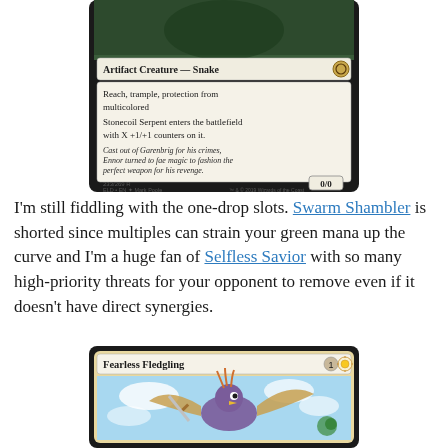[Figure (photo): Magic: The Gathering card — Stonecoil Serpent. Artifact Creature – Snake. Text: Reach, trample, protection from multicolored. Stonecoil Serpent enters the battlefield with X +1/+1 counters on it. Flavor text: Cast out of Garenbrig for his crimes, Ennor turned to fae magic to fashion the perfect weapon for his revenge. Power/Toughness: 0/0. Set number 233/269 R, ELD EN, art by Mark Poole.]
I'm still fiddling with the one-drop slots. Swarm Shambler is shorted since multiples can strain your green mana up the curve and I'm a huge fan of Selfless Savior with so many high-priority threats for your opponent to remove even if it doesn't have direct synergies.
[Figure (photo): Magic: The Gathering card — Fearless Fledgling. Mana cost: 1 white. Illustration shows a small bird creature with spread wings holding a weapon, flying against a blue sky background.]